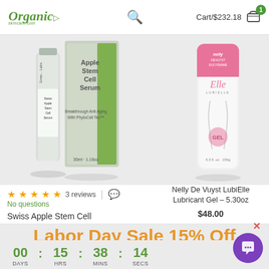Organic Skincare.com | Search | Cart/$232.18 [1]
[Figure (photo): Product photos: Swiss Apple Stem Cell Serum bottles and box on the left, Nelly De Vuyst LubiElle Lubricant Gel bottle on the right, displayed on a light grey background.]
★★★★★ 3 reviews | No questions
Nelly De Vuyst LubiElle Lubricant Gel – 5.30oz
$48.00
Swiss Apple Stem Cell
Labor Day Sale 15% Off
Code: labor22
00 DAYS : 15 HRS : 38 MINS : 14 SECS